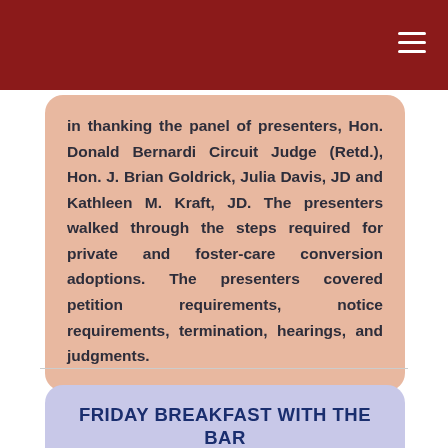in thanking the panel of presenters, Hon. Donald Bernardi Circuit Judge (Retd.), Hon. J. Brian Goldrick, Julia Davis, JD and Kathleen M. Kraft, JD. The presenters walked through the steps required for private and foster-care conversion adoptions. The presenters covered petition requirements, notice requirements, termination, hearings, and judgments.
FRIDAY BREAKFAST WITH THE BAR
JOIN US THIS FRIDAY